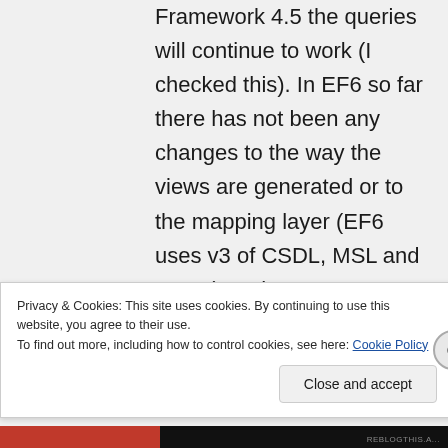Framework 4.5 the queries will continue to work (I checked this). In EF6 so far there has not been any changes to the way the views are generated or to the mapping layer (EF6 uses v3 of CSDL, MSL and SSDL) so the ESQL generated for EF6 should be the same. The only thing
Privacy & Cookies: This site uses cookies. By continuing to use this website, you agree to their use.
To find out more, including how to control cookies, see here: Cookie Policy